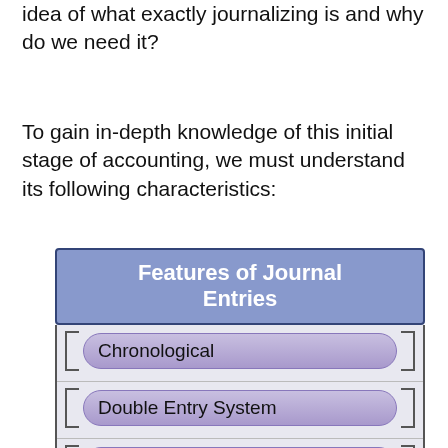idea of what exactly journalizing is and why do we need it?
To gain in-depth knowledge of this initial stage of accounting, we must understand its following characteristics:
[Figure (infographic): Diagram titled 'Features of Journal Entries' with a blue header box and four items listed below: Chronological, Double Entry System, Daybook, Compound Entry Possible (partially visible). Each item is shown in a purple pill/rounded-rectangle shape with bracket connectors on left and right.]